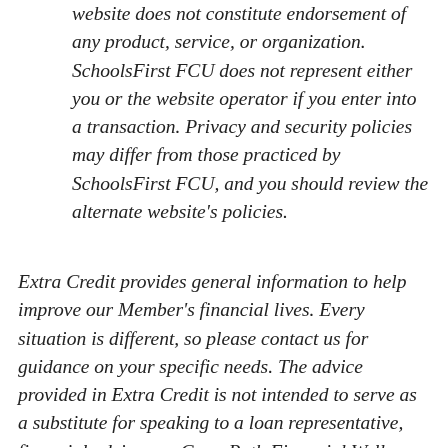website does not constitute endorsement of any product, service, or organization. SchoolsFirst FCU does not represent either you or the website operator if you enter into a transaction. Privacy and security policies may differ from those practiced by SchoolsFirst FCU, and you should review the alternate website's policies.
Extra Credit provides general information to help improve our Member's financial lives. Every situation is different, so please contact us for guidance on your specific needs. The advice provided in Extra Credit is not intended to serve as a substitute for speaking to a loan representative, financial advisor, or GreenPath Financial Wellness